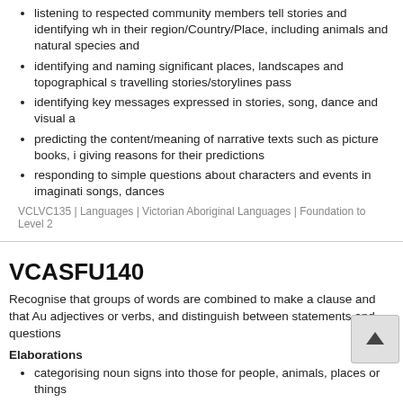listening to respected community members tell stories and identifying wh in their region/Country/Place, including animals and natural species and
identifying and naming significant places, landscapes and topographical s travelling stories/storylines pass
identifying key messages expressed in stories, song, dance and visual a
predicting the content/meaning of narrative texts such as picture books, i giving reasons for their predictions
responding to simple questions about characters and events in imaginati songs, dances
VCLVC135 | Languages | Victorian Aboriginal Languages | Foundation to Level 2
VCASFU140
Recognise that groups of words are combined to make a clause and that Au adjectives or verbs, and distinguish between statements and questions
Elaborations
categorising noun signs into those for people, animals, places or things
learning that proper nouns can have a sign name or be fingerspelled
knowing that adjectives describe nouns in different ways, such as how th smell (SMELLY) or sound (LOUD)
identifying verb signs (SIT, EAT, FEEL, WONDER, HAVE) and sin
noticing there is no equivalent of the verb 'to be' in Auslan, whi ig
understanding that a clause is one or more signs expressing a single idea